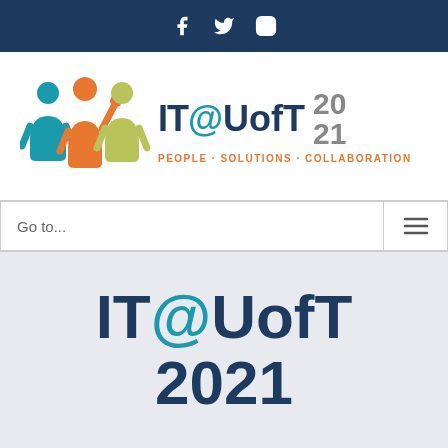Social media icons: Facebook, Twitter, Instagram
[Figure (logo): IT@UofT 2021 logo with three figure icons and tagline PEOPLE · SOLUTIONS · COLLABORATION]
Go to...
IT@UofT 2021